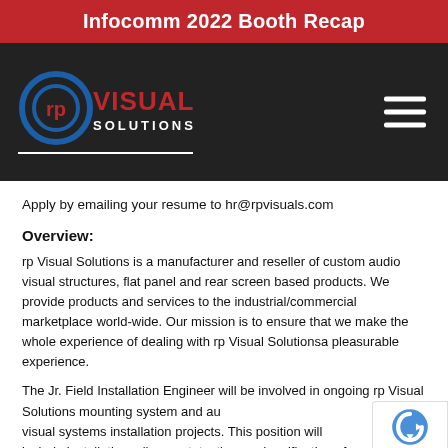Infocomm 2022 Booth Recap
[Figure (logo): rp Visual Solutions logo on dark background with hamburger menu icon]
Apply by emailing your resume to hr@rpvisuals.com
Overview:
rp Visual Solutions is a manufacturer and reseller of custom audio visual structures, flat panel and rear screen based products. We provide products and services to the industrial/commercial marketplace world-wide. Our mission is to ensure that we make the whole experience of dealing with rp Visual Solutionsa pleasurable experience.
The Jr. Field Installation Engineer will be involved in ongoing rp Visual Solutions mounting system and audio visual systems installation projects. This position will include installation, alignment, testing, and verification of